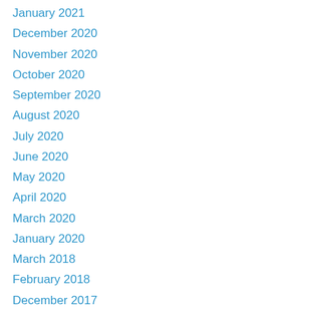January 2021
December 2020
November 2020
October 2020
September 2020
August 2020
July 2020
June 2020
May 2020
April 2020
March 2020
January 2020
March 2018
February 2018
December 2017
November 2017
October 2017
September 2017
August 2017
July 2017